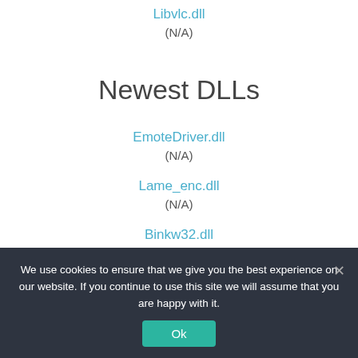Libvlc.dll
(N/A)
Newest DLLs
EmoteDriver.dll
(N/A)
Lame_enc.dll
(N/A)
Binkw32.dll
(N/A)
We use cookies to ensure that we give you the best experience on our website. If you continue to use this site we will assume that you are happy with it.
Ok